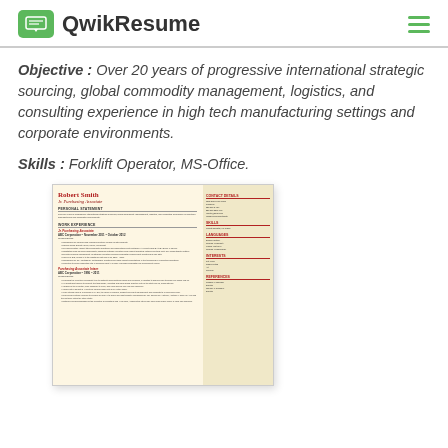QwikResume
Objective : Over 20 years of progressive international strategic sourcing, global commodity management, logistics, and consulting experience in high tech manufacturing settings and corporate environments.
Skills : Forklift Operator, MS-Office.
[Figure (other): Preview thumbnail of a resume for Robert Smith, Jr. Purchasing Associate, showing personal statement, work experience, skills, languages, references sections in a two-column layout with beige background.]